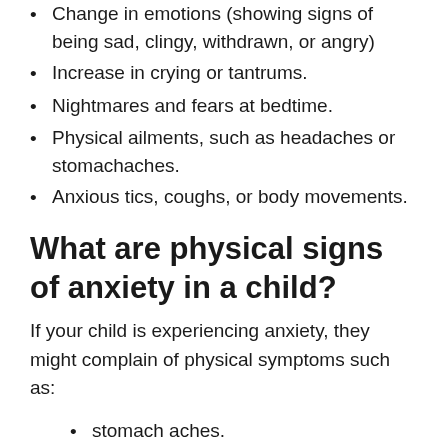Change in emotions (showing signs of being sad, clingy, withdrawn, or angry)
Increase in crying or tantrums.
Nightmares and fears at bedtime.
Physical ailments, such as headaches or stomachaches.
Anxious tics, coughs, or body movements.
What are physical signs of anxiety in a child?
If your child is experiencing anxiety, they might complain of physical symptoms such as:
stomach aches.
nausea.